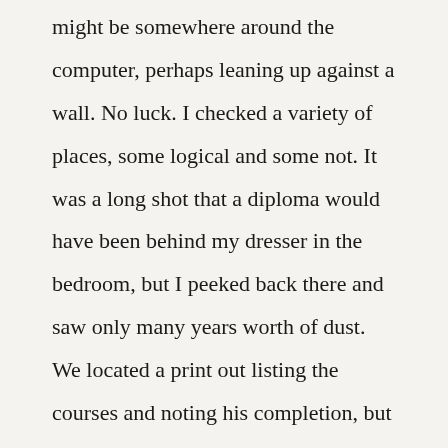might be somewhere around the computer, perhaps leaning up against a wall. No luck. I checked a variety of places, some logical and some not. It was a long shot that a diploma would have been behind my dresser in the bedroom, but I peeked back there and saw only many years worth of dust. We located a print out listing the courses and noting his completion, but the agency we were working with insisted upon seeing the actual diploma. So, I searched again only